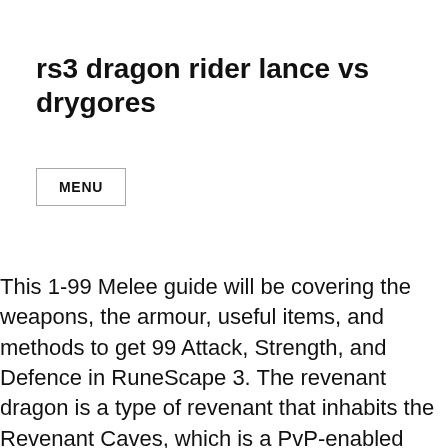rs3 dragon rider lance vs drygores
MENU
This 1-99 Melee guide will be covering the weapons, the armour, useful items, and methods to get 99 Attack, Strength, and Defence in RuneScape 3. The revenant dragon is a type of revenant that inhabits the Revenant Caves, which is a PvP-enabled area that is part of the Wilderness.Like all revenants, they can restore their health when it falls below 50% and will react to a player's protection prayers; wearing a charged bracelet